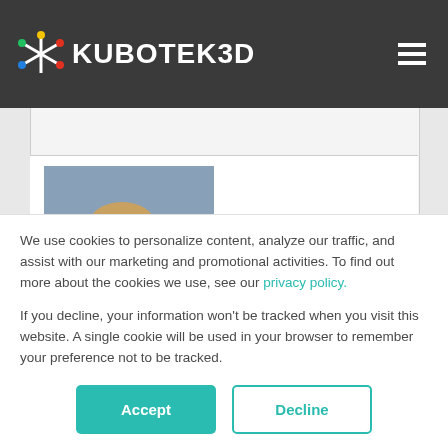Kubotek3D
[Figure (photo): Profile photo of a man with sunglasses and goatee outdoors]
Advanced member
We use cookies to personalize content, analyze our traffic, and assist with our marketing and promotional activities. To find out more about the cookies we use, see our privacy policy.
If you decline, your information won't be tracked when you visit this website. A single cookie will be used in your browser to remember your preference not to be tracked.